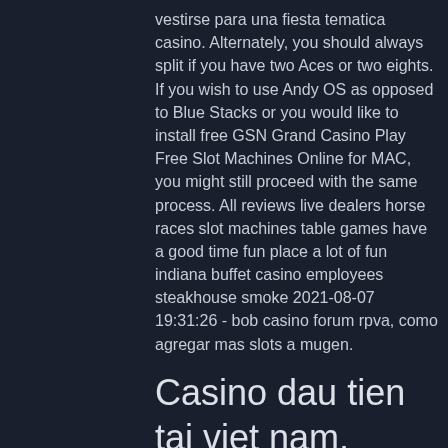vestirse para una fiesta tematica casino. Alternately, you should always split if you have two Aces or two eights. If you wish to use Andy OS as opposed to Blue Stacks or you would like to install free GSN Grand Casino Play Free Slot Machines Online for MAC, you might still proceed with the same process. All reviews live dealers horse races slot machines table games have a good time fun place a lot of fun indiana buffet casino employees steakhouse smoke 2021-08-07 19:31:26 - bob casino forum rpva, como agregar mas slots a mugen.
Casino dau tien tai viet nam, playing online poker from spain
Some jurisdictions, like Curacao, offer a single license that allows the holder to